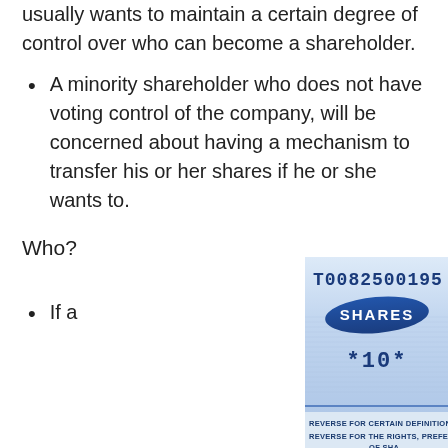usually wants to maintain a certain degree of control over who can become a shareholder.
A minority shareholder who does not have voting control of the company, will be concerned about having a mechanism to transfer his or her shares if he or she wants to.
Who?
If a
[Figure (photo): Close-up photo of a share certificate showing the text 'T0082500195', a blue oval stamp reading 'SHARES', and '*10*' printed below. At the bottom is text: 'REVERSE FOR CERTAIN DEFINITIONS A' and 'REVERSE FOR THE RIGHTS, PREFERENC OF SHA']